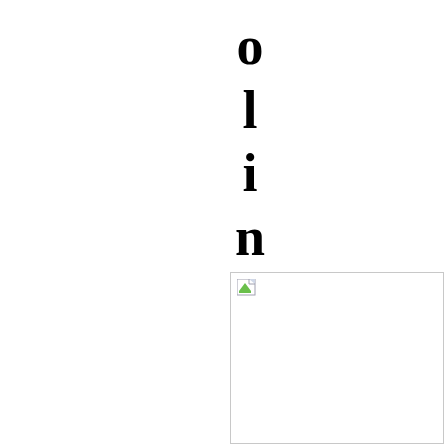olinna!
[Figure (illustration): Broken/missing image placeholder icon in top-left corner of an empty image box]